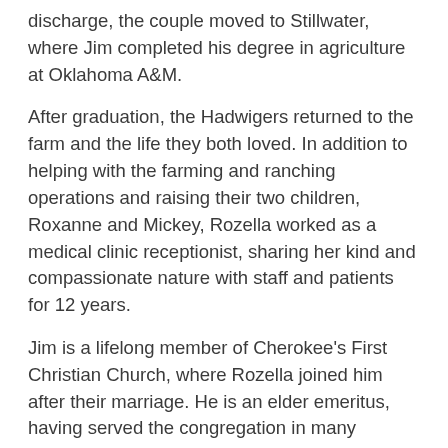discharge, the couple moved to Stillwater, where Jim completed his degree in agriculture at Oklahoma A&M.
After graduation, the Hadwigers returned to the farm and the life they both loved. In addition to helping with the farming and ranching operations and raising their two children, Roxanne and Mickey, Rozella worked as a medical clinic receptionist, sharing her kind and compassionate nature with staff and patients for 12 years.
Jim is a lifelong member of Cherokee's First Christian Church, where Rozella joined him after their marriage. He is an elder emeritus, having served the congregation in many capacities over the years, including deacon, elder, Sunday School teacher, vice president and president of the church board, and as a member of numerous committees. Rozella, too, brought her grace and talents to the church, serving on various committees and employing her musical gifts as choir director, organist and pianist.
After the couple's return to Cherokee, Jim resumed his duties as all-around handyman and helper to the rodeo crew. He and Rozella have been “big fans” and faithful supporters through the years, watching the smallest goat chasers and youngest stick